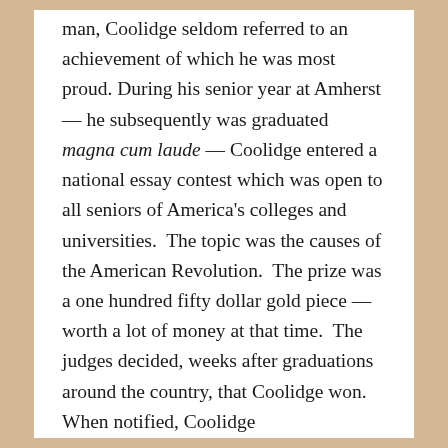man, Coolidge seldom referred to an achievement of which he was most proud. During his senior year at Amherst — he subsequently was graduated magna cum laude — Coolidge entered a national essay contest which was open to all seniors of America's colleges and universities.  The topic was the causes of the American Revolution.  The prize was a one hundred fifty dollar gold piece — worth a lot of money at that time.  The judges decided, weeks after graduations around the country, that Coolidge won.  When notified, Coolidge characteristically said nothing, placing the medal on his desk in the law office where he had begun to study law.  Days later, a senior partner, and fellow Amherst graduate, walked in and saw the medal, congratulating Coolidge. Coolidge, who later as a seasoned